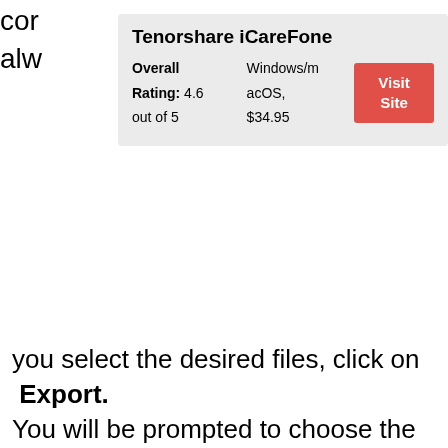cor... alw...
|  |  |
| --- | --- |
| Tenorshare iCareFone |  |
| Overall Rating: 4.6 out of 5 | Windows/macOS, $34.95 | Visit Site |
you select the desired files, click on Export. You will be prompted to choose the desired destination.
[Figure (screenshot): Screenshot of Tenorshare iCareFone application showing photo management interface with a Browse For Folder dialog box open]